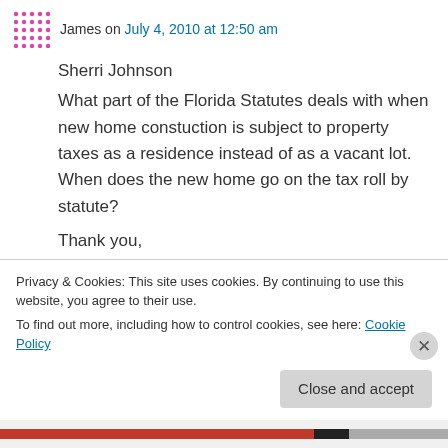James on July 4, 2010 at 12:50 am
Sherri Johnson
What part of the Florida Statutes deals with when new home constuction is subject to property taxes as a residence instead of as a vacant lot. When does the new home go on the tax roll by statute?
Thank you,
James Johnson
Reply
Privacy & Cookies: This site uses cookies. By continuing to use this website, you agree to their use.
To find out more, including how to control cookies, see here: Cookie Policy
Close and accept